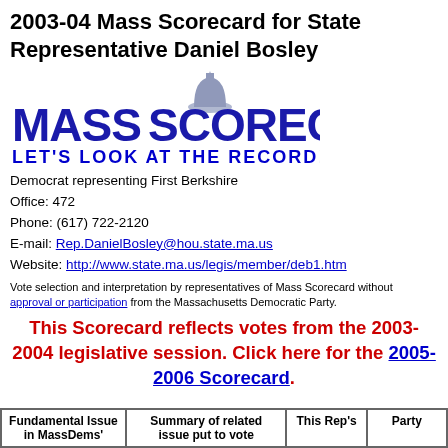2003-04 Mass Scorecard for State Representative Daniel Bosley
[Figure (logo): Mass Scorecard logo with dome graphic and tagline LET'S LOOK AT THE RECORD!]
Democrat representing First Berkshire
Office: 472
Phone: (617) 722-2120
E-mail: Rep.DanielBosley@hou.state.ma.us
Website: http://www.state.ma.us/legis/member/deb1.htm
Vote selection and interpretation by representatives of Mass Scorecard without approval or participation from the Massachusetts Democratic Party.
This Scorecard reflects votes from the 2003-2004 legislative session. Click here for the 2005-2006 Scorecard.
| Fundamental Issue in MassDems' | Summary of related issue put to vote | This Rep's | Party |
| --- | --- | --- | --- |